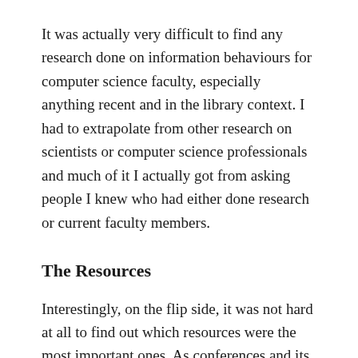It was actually very difficult to find any research done on information behaviours for computer science faculty, especially anything recent and in the library context. I had to extrapolate from other research on scientists or computer science professionals and much of it I actually got from asking people I knew who had either done research or current faculty members.
The Resources
Interestingly, on the flip side, it was not hard at all to find out which resources were the most important ones. As conferences and its